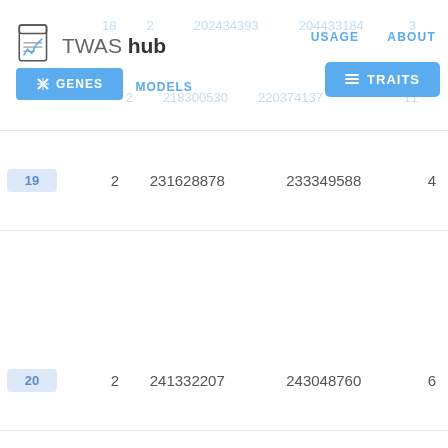TWAS hub — USAGE  ABOUT  GENES  MODELS  TRAITS
| # | Chr | Start | End | Count |
| --- | --- | --- | --- | --- |
| 19 | 2 | 231628878 | 233349588 | 4 |
| 20 | 2 | 241332207 | 243048760 | 6 |
| 21 | 3 | 8294862 | 8858201 | 1 |